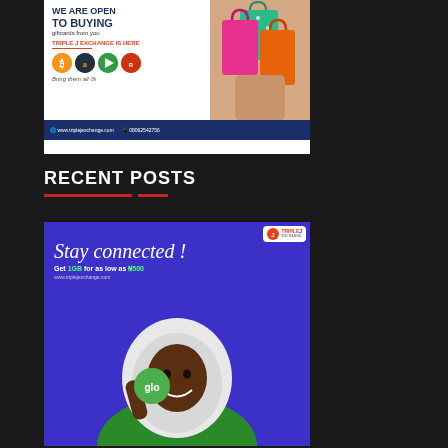[Figure (illustration): Triple J Exchange advertisement for buying gift cards. Shows 'WE ARE OPEN TO BUYING giftcards from you', 'TRIPLE J EXCHANGE IS HERE', icons for Bitcoin, Amazon, Google Play, Roblox, 'Bring them all', woman holding colorful shopping bags. Footer: www.triplejexchange.com | 08062542756]
RECENT POSTS
[Figure (illustration): Triple J Exchange advertisement featuring 'Stay connected!' in script font, 'Get 1GB for as low as N500', www.triplejexchange.com, woman in green jacket and white hijab holding a Glo mobile device up to her face, blue/purple background, Triple J Exchange logo in top right.]